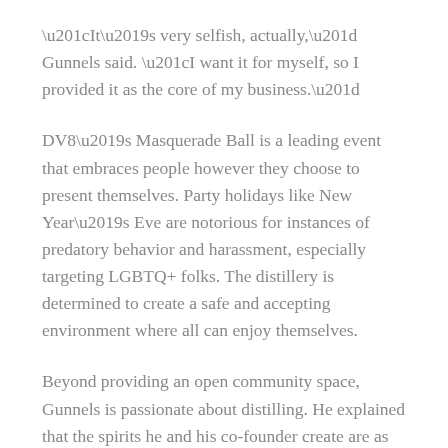“It’s very selfish, actually,” Gunnels said. “I want it for myself, so I provided it as the core of my business.”
DV8’s Masquerade Ball is a leading event that embraces people however they choose to present themselves. Party holidays like New Year’s Eve are notorious for instances of predatory behavior and harassment, especially targeting LGBTQ+ folks. The distillery is determined to create a safe and accepting environment where all can enjoy themselves.
Beyond providing an open community space, Gunnels is passionate about distilling. He explained that the spirits he and his co-founder create are as unique as the community space they provide. Made with rice, a grain that’s difficult to ferment, the spirits feature a distinct flavor. As a result, DV8 is the only rice distillery in Colorado and one of just a few